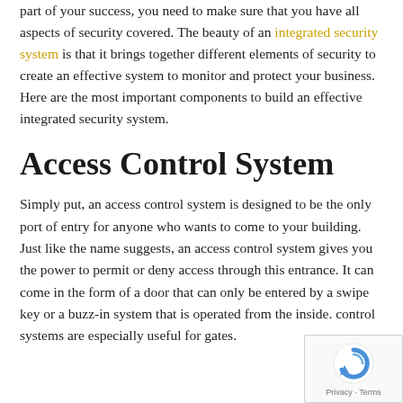part of your success, you need to make sure that you have all aspects of security covered. The beauty of an integrated security system is that it brings together different elements of security to create an effective system to monitor and protect your business. Here are the most important components to build an effective integrated security system.
Access Control System
Simply put, an access control system is designed to be the only port of entry for anyone who wants to come to your building. Just like the name suggests, an access control system gives you the power to permit or deny access through this entrance. It can come in the form of a door that can only be entered by a swipe key or a buzz-in system that is operated from the inside. control systems are especially useful for gates.
[Figure (other): reCAPTCHA badge with Privacy and Terms links]